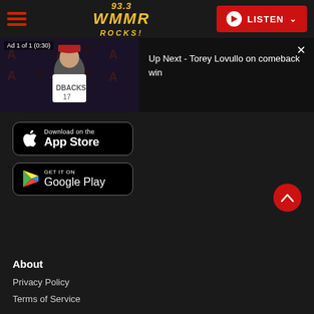[Figure (screenshot): 93.3 WMMR Rocks! radio station website header with hamburger menu, logo, and LISTEN button]
[Figure (screenshot): Video player showing ad overlay with Arizona Diamondbacks player in press conference, and Up Next panel showing 'Up Next - Torey Lovullo on comeback win']
[Figure (logo): App Store download button]
[Figure (logo): Google Play download button]
About
Privacy Policy
Terms of Service